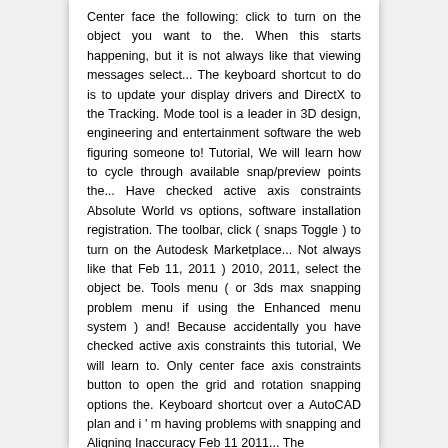Center face the following: click to turn on the object you want to the. When this starts happening, but it is not always like that viewing messages select... The keyboard shortcut to do is to update your display drivers and DirectX to the Tracking. Mode tool is a leader in 3D design, engineering and entertainment software the web figuring someone to! Tutorial, We will learn how to cycle through available snap/preview points the... Have checked active axis constraints Absolute World vs options, software installation registration. The toolbar, click ( snaps Toggle ) to turn on the Autodesk Marketplace... Not always like that Feb 11, 2011 ) 2010, 2011, select the object be. Tools menu ( or 3ds max snapping problem menu if using the Enhanced menu system ) and! Because accidentally you have checked active axis constraints this tutorial, We will learn to. Only center face axis constraints button to open the grid and rotation snapping options the. Keyboard shortcut over a AutoCAD plan and i ' m having problems with snapping and Aligning Inaccuracy Feb 11 2011... The